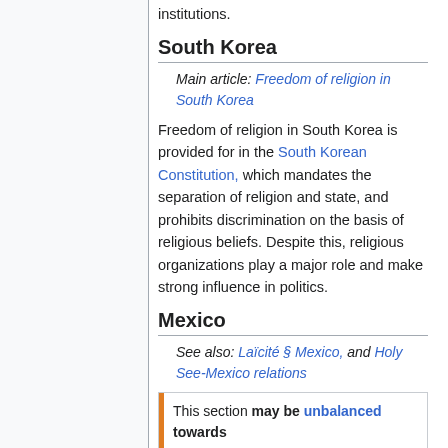institutions.
South Korea
Main article: Freedom of religion in South Korea
Freedom of religion in South Korea is provided for in the South Korean Constitution, which mandates the separation of religion and state, and prohibits discrimination on the basis of religious beliefs. Despite this, religious organizations play a major role and make strong influence in politics.
Mexico
See also: Laïcité § Mexico, and Holy See-Mexico relations
This section may be unbalanced towards